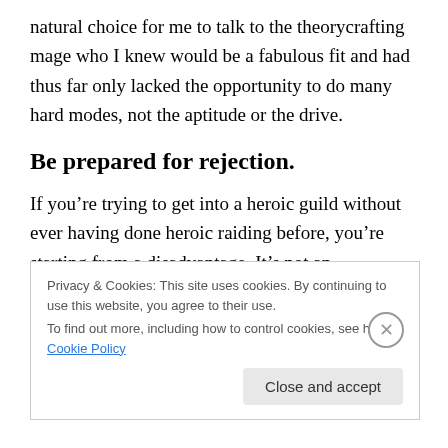natural choice for me to talk to the theorycrafting mage who I knew would be a fabulous fit and had thus far only lacked the opportunity to do many hard modes, not the aptitude or the drive.
Be prepared for rejection.
If you’re trying to get into a heroic guild without ever having done heroic raiding before, you’re starting from a disadvantage. It’s not an insurmountable one, and the way recruitment is these days, it could possibly be no obstacle,
Privacy & Cookies: This site uses cookies. By continuing to use this website, you agree to their use.
To find out more, including how to control cookies, see here: Cookie Policy